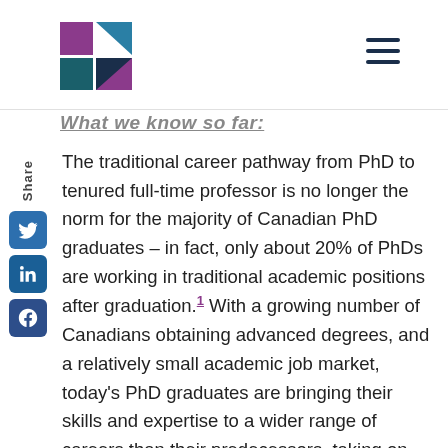Logo and navigation header
What we know so far:
The traditional career pathway from PhD to tenured full-time professor is no longer the norm for the majority of Canadian PhD graduates – in fact, only about 20% of PhDs are working in traditional academic positions after graduation.1 With a growing number of Canadians obtaining advanced degrees, and a relatively small academic job market, today's PhD graduates are bringing their skills and expertise to a wider range of careers than their predecessors, taking on roles in industry, health care, and government. These new career pathways for PhD graduates are prompting graduate training programs in Canada to move